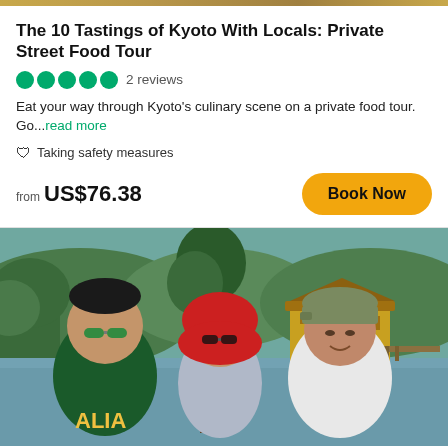The 10 Tastings of Kyoto With Locals: Private Street Food Tour
●●●●● 2 reviews
Eat your way through Kyoto's culinary scene on a private food tour. Go...read more
🛡 Taking safety measures
from US$76.38
Book Now
[Figure (photo): Three people posing for a selfie in front of a Japanese temple (Kinkaku-ji/Golden Pavilion) with a pond, surrounded by green trees and hills in the background. The person on the left wears a green Australian jersey and sunglasses, the person in the middle wears a red hijab and sunglasses, and the person on the right wears a cap.]